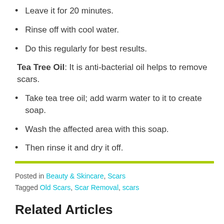Leave it for 20 minutes.
Rinse off with cool water.
Do this regularly for best results.
Tea Tree Oil: It is anti-bacterial oil helps to remove scars.
Take tea tree oil; add warm water to it to create soap.
Wash the affected area with this soap.
Then rinse it and dry it off.
Posted in Beauty & Skincare, Scars
Tagged Old Scars, Scar Removal, scars
Related Articles